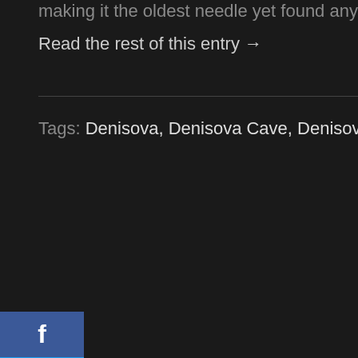making it the oldest needle yet found anywhere in the...
Read the rest of this entry →
Tags: Denisova, Denisova Cave, Denisovan fossils, D...
[Figure (infographic): Social media sharing buttons: Facebook (blue), Twitter (light blue), Google+ (red), LinkedIn (blue), Pinterest (red), Reddit (light blue), StumbleUpon (red)]